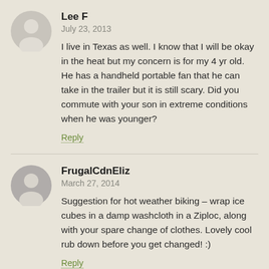[Figure (illustration): Gray avatar silhouette icon for user Lee F]
Lee F
July 23, 2013
I live in Texas as well. I know that I will be okay in the heat but my concern is for my 4 yr old. He has a handheld portable fan that he can take in the trailer but it is still scary. Did you commute with your son in extreme conditions when he was younger?
Reply
[Figure (illustration): Gray avatar silhouette icon for user FrugalCdnEliz]
FrugalCdnEliz
March 27, 2014
Suggestion for hot weather biking – wrap ice cubes in a damp washcloth in a Ziploc, along with your spare change of clothes. Lovely cool rub down before you get changed! :)
Reply
[Figure (illustration): Gray avatar silhouette icon for user Amonymous]
Amonymous
July 7, 2016